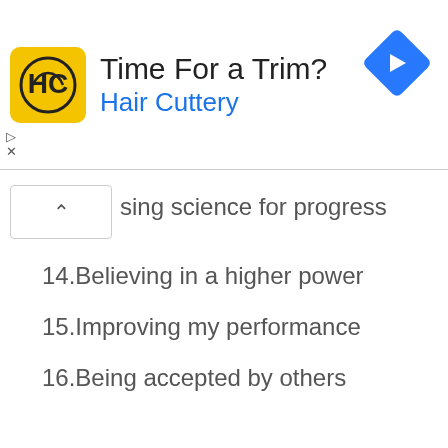[Figure (illustration): Advertisement banner for Hair Cuttery with yellow logo, text 'Time For a Trim? Hair Cuttery', and a blue diamond navigation arrow icon on the right.]
...sing science for progress
14.Believing in a higher power
15.Improving my performance
16.Being accepted by others